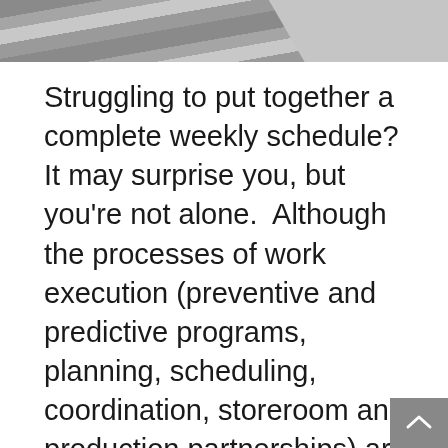[Figure (photo): Grayscale photo of metal or structural beams/rails viewed at an angle, cropped to top portion of page]
Struggling to put together a complete weekly schedule? It may surprise you, but you're not alone.  Although the processes of work execution (preventive and predictive programs, planning, scheduling, coordination, storeroom and production partnerships) are foundational, many groups struggle to put it all together well. Without this foundation, more advanced concepts fizzle out quickly. Frustration ensues. There are many pieces that need to align to complete the entire work execution puzzle. To start, let's focus on developing the weekly maintenance schedule. There are some basic steps that you should address to move things